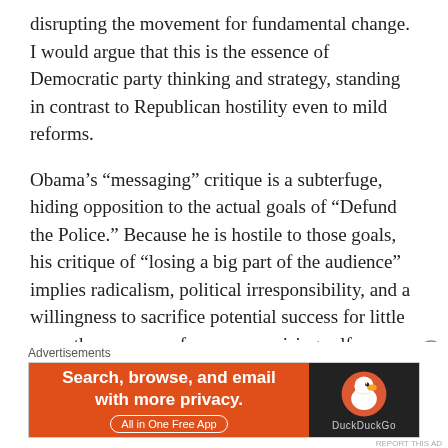disrupting the movement for fundamental change. I would argue that this is the essence of Democratic party thinking and strategy, standing in contrast to Republican hostility even to mild reforms.
Obama’s “messaging” critique is a subterfuge, hiding opposition to the actual goals of “Defund the Police.” Because he is hostile to those goals, his critique of “losing a big part of the audience” implies radicalism, political irresponsibility, and a willingness to sacrifice potential success for little more than a sense of uncompromising self-righteousness.
That same characterization is often deployed by those working to establish the boundaries of “acceptable”
[Figure (other): DuckDuckGo advertisement banner: orange left panel with text 'Search, browse, and email with more privacy. All in One Free App' and dark right panel with DuckDuckGo duck logo and brand name.]